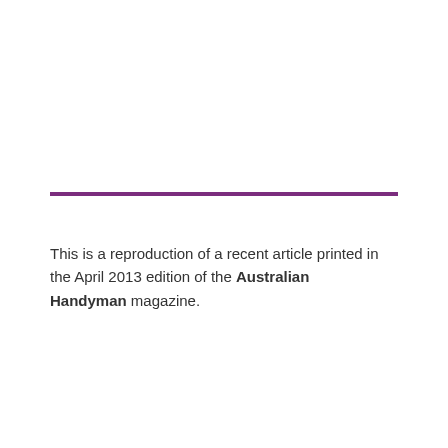[Figure (other): Horizontal purple rule/divider line]
This is a reproduction of a recent article printed in the April 2013 edition of the Australian Handyman magazine.